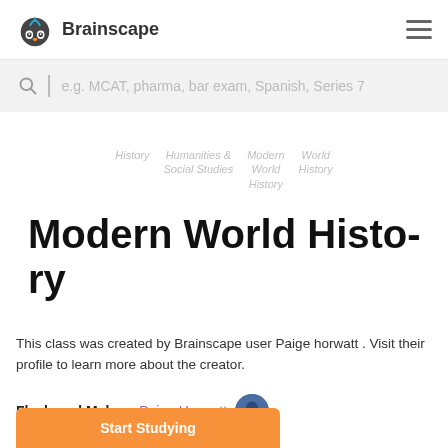[Figure (logo): Brainscape owl logo with blue lightning bolt and text 'Brainscape']
[Figure (other): Hamburger menu icon (three horizontal lines)]
e.g. MCAT, pharma, bar exam, Spanish, Series 7
History   Humanities & Social Studies   Modern World History   World History
Modern World History
This class was created by Brainscape user Paige horwatt . Visit their profile to learn more about the creator.
Flashcard Maker:  Paige Horwatt
Start Studying